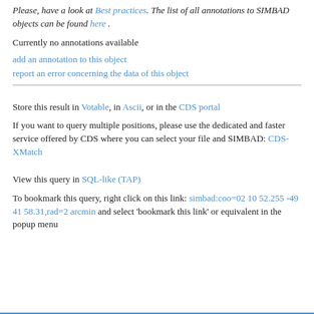Please, have a look at Best practices. The list of all annotations to SIMBAD objects can be found here .
Currently no annotations available
add an annotation to this object
report an error concerning the data of this object
Store this result in Votable, in Ascii, or in the CDS portal
If you want to query multiple positions, please use the dedicated and faster service offered by CDS where you can select your file and SIMBAD: CDS-XMatch
View this query in SQL-like (TAP)
To bookmark this query, right click on this link: simbad:coo=02 10 52.255 -49 41 58.31,rad=2 arcmin and select 'bookmark this link' or equivalent in the popup menu